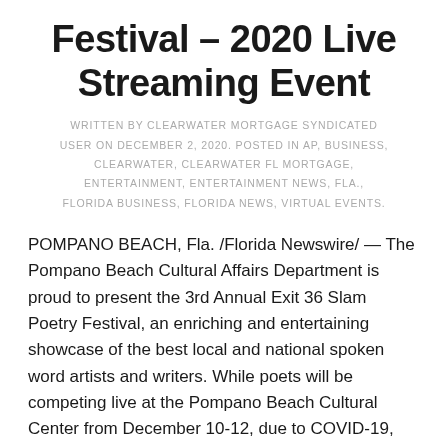Festival – 2020 Live Streaming Event
WRITTEN BY CLEARWATER MORTGAGE SYNDICATED USER ON DECEMBER 2, 2020. POSTED IN AP, BUSINESS, CLEARWATER, CLEARWATER FL MORTGAGE, ENTERTAINMENT, ENTERTAINMENT NEWS, FLA., FLORIDA BUSINESS, FLORIDA NEWS, VIRTUAL EVENTS.
POMPANO BEACH, Fla. /Florida Newswire/ — The Pompano Beach Cultural Affairs Department is proud to present the 3rd Annual Exit 36 Slam Poetry Festival, an enriching and entertaining showcase of the best local and national spoken word artists and writers. While poets will be competing live at the Pompano Beach Cultural Center from December 10-12, due to COVID-19, the festival will be live streamed to the public. The preliminary and final bouts are $10 each, in addition there will be free virtual